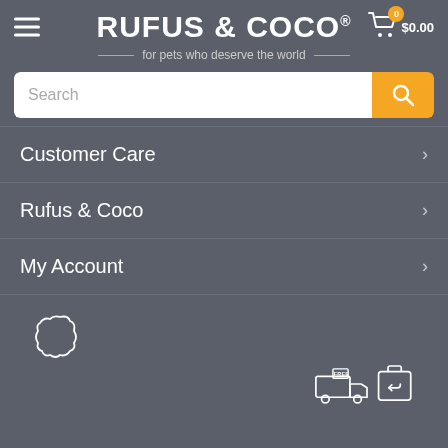RUFUS & COCO®
for pets who deserve the world
Search
Customer Care
Rufus & Coco
My Account
[Figure (illustration): Three icons: Australia map outline, free delivery truck, returns box]
I Give a Wag - Rupert Reindeer Disc Toy
$18.95
Out Of Stock - Notify Me